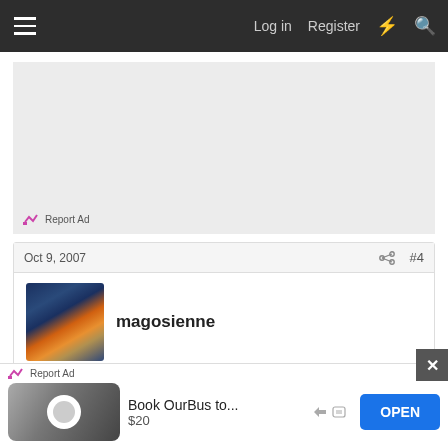Log in  Register
[Figure (screenshot): Gray advertisement placeholder area with Report Ad link at bottom left]
Report Ad
Oct 9, 2007  #4
magosienne
one day my mom's mother called at home, and i didn't wanna pick the phone and talk to her because i knew
Report Ad
Book OurBus to... $20  OPEN